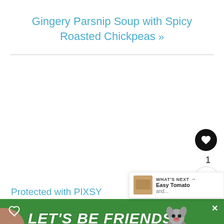Gingery Parsnip Soup with Spicy Roasted Chickpeas »
Protected with PIXSY
1
SUBSCRIBE to the yumsome newsletter!
WHAT'S NEXT → Easy Tomato and...
LET'S BE FRIENDS